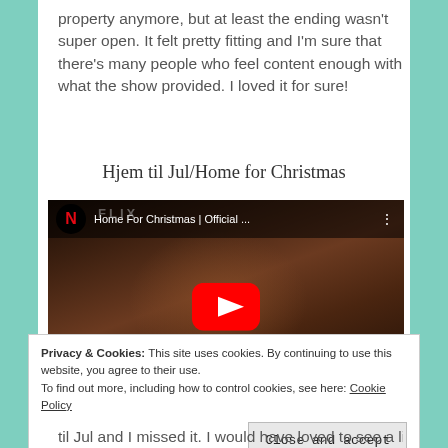property anymore, but at least the ending wasn't super open. It felt pretty fitting and I'm sure that there's many people who feel content enough with what the show provided. I loved it for sure!
Hjem til Jul/Home for Christmas
[Figure (screenshot): YouTube video embed showing Netflix 'Home For Christmas | Official ...' with a woman's face visible in the thumbnail background and a red YouTube play button in the center.]
Privacy & Cookies: This site uses cookies. By continuing to use this website, you agree to their use.
To find out more, including how to control cookies, see here: Cookie Policy
[Close and accept button]
til Jul and I missed it. I would have loved to see a little